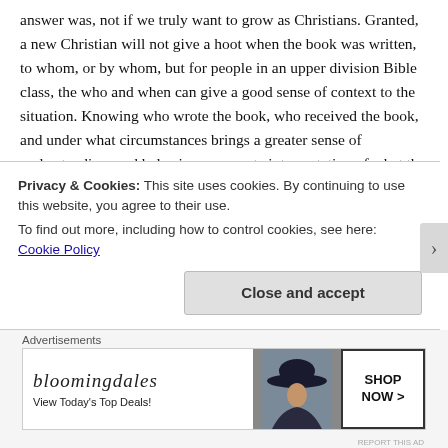answer was, not if we truly want to grow as Christians. Granted, a new Christian will not give a hoot when the book was written, to whom, or by whom, but for people in an upper division Bible class, the who and when can give a good sense of context to the situation. Knowing who wrote the book, who received the book, and under what circumstances brings a greater sense of understanding, and helps in an accurate interpretation of what the author is saying and the progression of the letter.
That being said, it is interesting to hear the stories of others. I grew up in a public school where many students were Christians, and were outspoken for it. Not only were these students outspoken, but they were looked up to and held in high
Privacy & Cookies: This site uses cookies. By continuing to use this website, you agree to their use.
To find out more, including how to control cookies, see here: Cookie Policy
Close and accept
Advertisements
[Figure (other): Bloomingdales advertisement banner with logo, 'View Today's Top Deals!' tagline, a woman wearing a hat, and a 'SHOP NOW >' button]